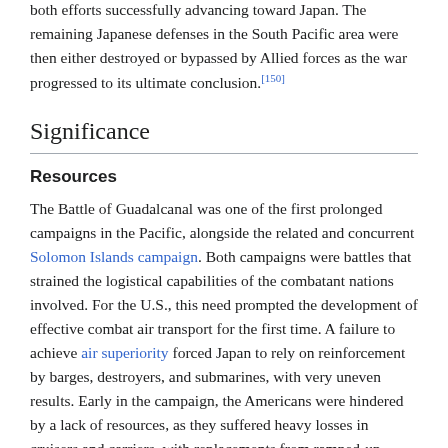both efforts successfully advancing toward Japan. The remaining Japanese defenses in the South Pacific area were then either destroyed or bypassed by Allied forces as the war progressed to its ultimate conclusion.[150]
Significance
Resources
The Battle of Guadalcanal was one of the first prolonged campaigns in the Pacific, alongside the related and concurrent Solomon Islands campaign. Both campaigns were battles that strained the logistical capabilities of the combatant nations involved. For the U.S., this need prompted the development of effective combat air transport for the first time. A failure to achieve air superiority forced Japan to rely on reinforcement by barges, destroyers, and submarines, with very uneven results. Early in the campaign, the Americans were hindered by a lack of resources, as they suffered heavy losses in cruisers and carriers, with replacements from ramped-up shipbuilding programs still months away from materializing.[151]